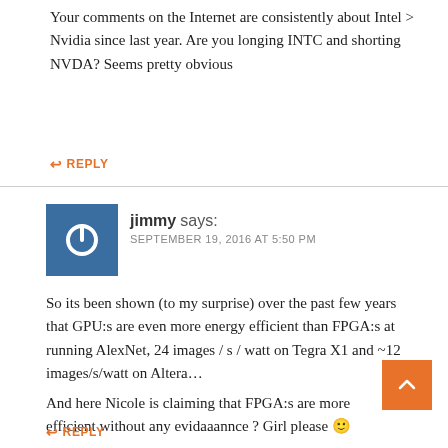Your comments on the Internet are consistently about Intel > Nvidia since last year. Are you longing INTC and shorting NVDA? Seems pretty obvious
↩ REPLY
[Figure (illustration): Blue square avatar with white power button icon]
jimmy says: SEPTEMBER 19, 2016 AT 5:50 PM
So its been shown (to my surprise) over the past few years that GPU:s are even more energy efficient than FPGA:s at running AlexNet, 24 images / s / watt on Tegra X1 and ~12 images/s/watt on Altera…
And here Nicole is claiming that FPGA:s are more efficient without any evidaaannce ? Girl please 🙂
↩ REPLY